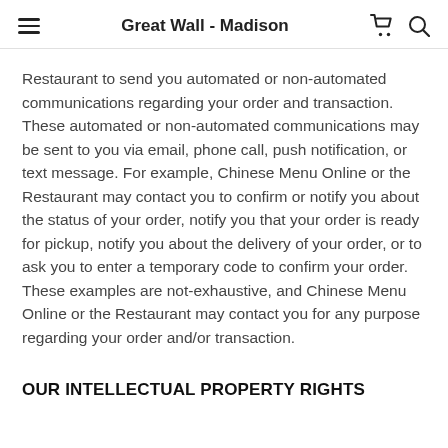Great Wall - Madison
Restaurant to send you automated or non-automated communications regarding your order and transaction. These automated or non-automated communications may be sent to you via email, phone call, push notification, or text message. For example, Chinese Menu Online or the Restaurant may contact you to confirm or notify you about the status of your order, notify you that your order is ready for pickup, notify you about the delivery of your order, or to ask you to enter a temporary code to confirm your order. These examples are not-exhaustive, and Chinese Menu Online or the Restaurant may contact you for any purpose regarding your order and/or transaction.
OUR INTELLECTUAL PROPERTY RIGHTS